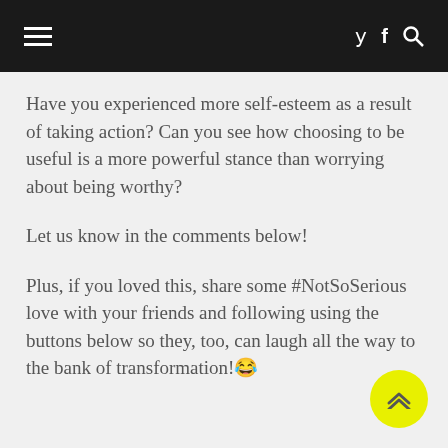≡ 𝐲 𝐟 🔍
Have you experienced more self-esteem as a result of taking action? Can you see how choosing to be useful is a more powerful stance than worrying about being worthy?
Let us know in the comments below!
Plus, if you loved this, share some #NotSoSerious love with your friends and following using the buttons below so they, too, can laugh all the way to the bank of transformation!🎉